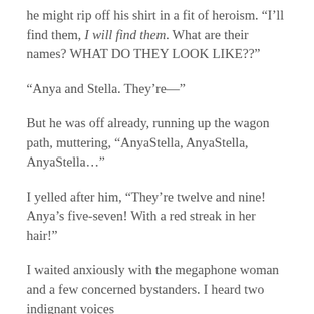he might rip off his shirt in a fit of heroism. “I’ll find them, I will find them. What are their names? WHAT DO THEY LOOK LIKE??”
“Anya and Stella. They’re—”
But he was off already, running up the wagon path, muttering, “AnyaStella, AnyaStella, AnyaStella…”
I yelled after him, “They’re twelve and nine! Anya’s five-seven! With a red streak in her hair!”
I waited anxiously with the megaphone woman and a few concerned bystanders. I heard two indignant voices